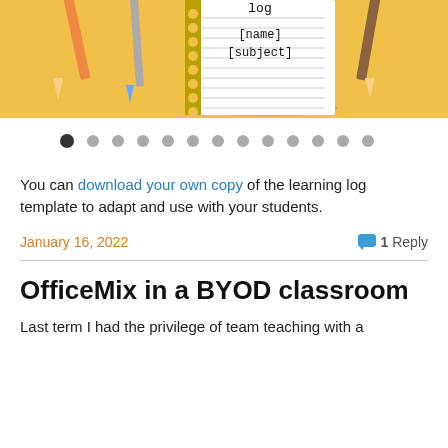[Figure (illustration): Illustration of pencils and pens on a yellow background with a notebook showing 'log [name] [subject]' text]
[Figure (infographic): Carousel navigation dots, first dot is filled/active, followed by 12 grey dots]
You can download your own copy of the learning log template to adapt and use with your students.
January 16, 2022
1 Reply
OfficeMix in a BYOD classroom
Last term I had the privilege of team teaching with a